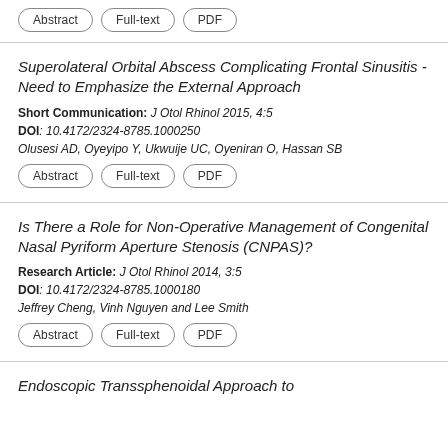Abstract | Full-text | PDF
Superolateral Orbital Abscess Complicating Frontal Sinusitis - Need to Emphasize the External Approach
Short Communication: J Otol Rhinol 2015, 4:5
DOI: 10.4172/2324-8785.1000250
Olusesi AD, Oyeyipo Y, Ukwuije UC, Oyeniran O, Hassan SB
Abstract | Full-text | PDF
Is There a Role for Non-Operative Management of Congenital Nasal Pyriform Aperture Stenosis (CNPAS)?
Research Article: J Otol Rhinol 2014, 3:5
DOI: 10.4172/2324-8785.1000180
Jeffrey Cheng, Vinh Nguyen and Lee Smith
Abstract | Full-text | PDF
Endoscopic Transsphenoidal Approach to